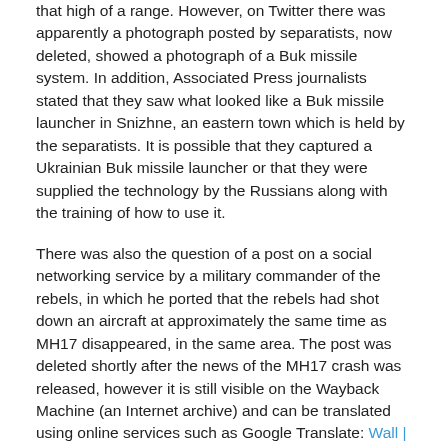that high of a range. However, on Twitter there was apparently a photograph posted by separatists, now deleted, showed a photograph of a Buk missile system. In addition, Associated Press journalists stated that they saw what looked like a Buk missile launcher in Snizhne, an eastern town which is held by the separatists. It is possible that they captured a Ukrainian Buk missile launcher or that they were supplied the technology by the Russians along with the training of how to use it.
There was also the question of a post on a social networking service by a military commander of the rebels, in which he ported that the rebels had shot down an aircraft at approximately the same time as MH17 disappeared, in the same area. The post was deleted shortly after the news of the MH17 crash was released, however it is still visible on the Wayback Machine (an Internet archive) and can be translated using online services such as Google Translate: Wall | VK. The poster appears to have believed that the aircraft was a Ukrainian military cargo plane and stated, “We did warn you – do not fly in our sky.”
Meanwhile, the Ukrainian authorities released recordings of phone conversations which they claim are between the separatists and Russian military officedrs. The BBC has published the recordings